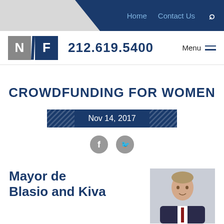Home  Contact Us  🔍
[Figure (logo): NF law firm logo with phone number 212.619.5400 and Menu]
CROWDFUNDING FOR WOMEN
Nov 14, 2017
[Figure (other): Social media icons: Facebook and Twitter]
Mayor de Blasio and Kiva
[Figure (photo): Photo of a man in a suit, smiling]